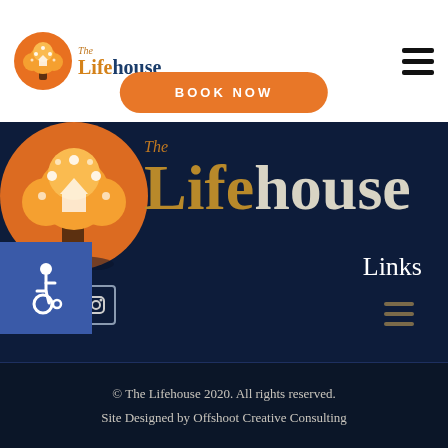[Figure (logo): The Lifehouse logo - orange circle with tree and house, with text 'The Lifehouse' beside it]
[Figure (other): Hamburger menu icon (three horizontal lines)]
BOOK NOW
[Figure (logo): Large The Lifehouse logo with orange tree graphic on dark navy background with text 'The Lifehouse' in gold and white]
[Figure (other): Accessibility icon - wheelchair symbol in blue square]
Links
[Figure (other): Facebook and Instagram social media icons]
[Figure (other): Three horizontal lines menu icon]
© The Lifehouse 2020. All rights reserved. Site Designed by Offshoot Creative Consulting